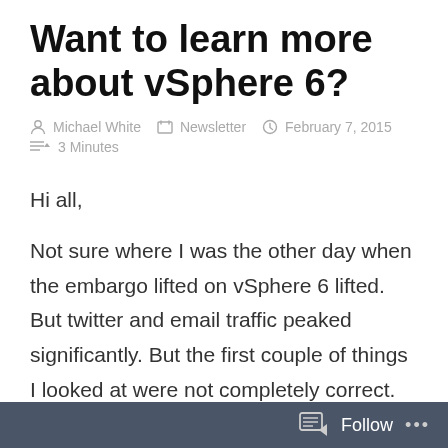Want to learn more about vSphere 6?
Michael White   Newsletter   February 7, 2015   3 Minutes
Hi all,
Not sure where I was the other day when the embargo lifted on vSphere 6 lifted.  But twitter and email traffic peaked significantly.  But the first couple of things I looked at were not completely correct.  There were changes between beta / RC and the almost GA product and so there were issues in some of the articles.  But the